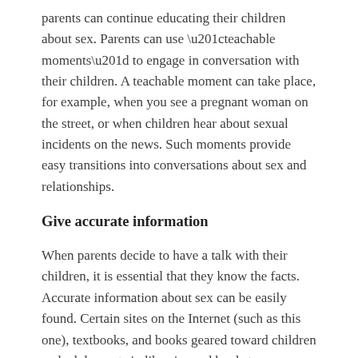parents can continue educating their children about sex. Parents can use “teachable moments” to engage in conversation with their children. A teachable moment can take place, for example, when you see a pregnant woman on the street, or when children hear about sexual incidents on the news. Such moments provide easy transitions into conversations about sex and relationships.
Give accurate information
When parents decide to have a talk with their children, it is essential that they know the facts. Accurate information about sex can be easily found. Certain sites on the Internet (such as this one), textbooks, and books geared toward children and adolescents in libraries and bookstores are good examples. If a parent is ever asked a question that they do not know the answer to, they should do the proper research. This